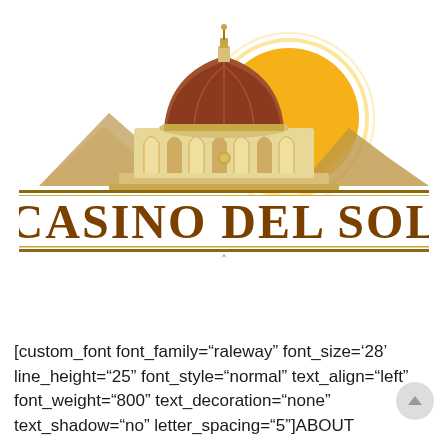[Figure (logo): Casino Del Sol logo featuring a domed building with ornate columns and arches, mountains in the background, a large golden sun behind the dome, and the text 'CASINO DEL SOL' in large golden-brown serif letters on a decorative banner with gold border lines.]
[custom_font font_family="raleway" font_size='28' line_height="25" font_style="normal" text_align="left" font_weight="800" text_decoration="none" text_shadow="no" letter_spacing="5"]ABOUT